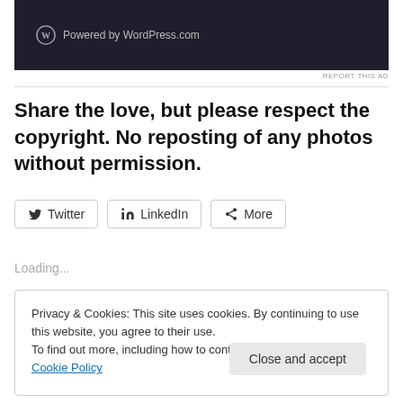[Figure (screenshot): Dark banner showing WordPress.com logo and 'Powered by WordPress.com' text on dark background]
REPORT THIS AD
Share the love, but please respect the copyright. No reposting of any photos without permission.
Twitter
LinkedIn
More
Loading...
Privacy & Cookies: This site uses cookies. By continuing to use this website, you agree to their use.
To find out more, including how to control cookies, see here: Cookie Policy
Close and accept